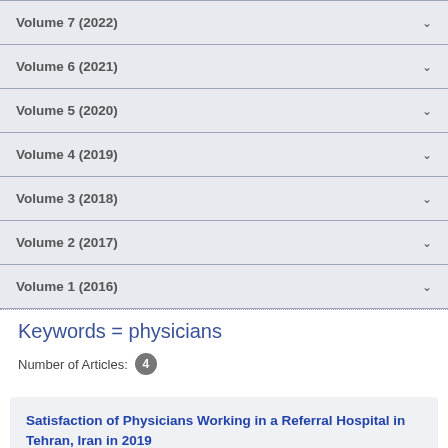Volume 7 (2022)
Volume 6 (2021)
Volume 5 (2020)
Volume 4 (2019)
Volume 3 (2018)
Volume 2 (2017)
Volume 1 (2016)
Keywords = physicians
Number of Articles: 4
Satisfaction of Physicians Working in a Referral Hospital in Tehran, Iran in 2019